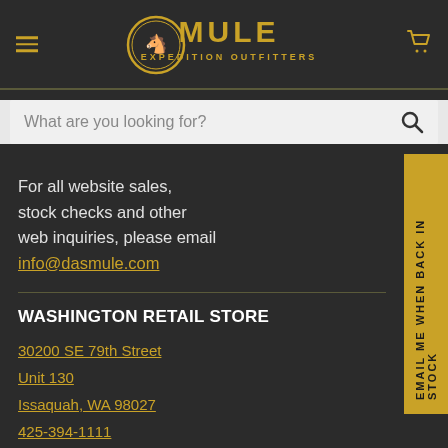[Figure (logo): Mule Expedition Outfitters logo - golden circular emblem with mule head and text MULE EXPEDITION OUTFITTERS]
What are you looking for?
For all website sales, stock checks and other web inquiries, please email info@dasmule.com
EMAIL ME WHEN BACK IN STOCK
WASHINGTON RETAIL STORE
30200 SE 79th Street
Unit 130
Issaquah, WA 98027
425-394-1111
info@dasmule.com